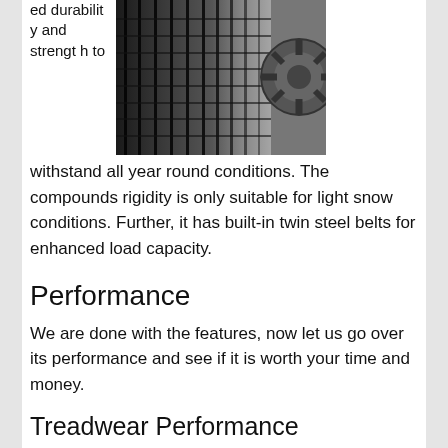ed durability and strength to
[Figure (photo): Close-up black and white photo of a tire tread with a wheel rim visible on the right side]
withstand all year round conditions. The compounds rigidity is only suitable for light snow conditions. Further, it has built-in twin steel belts for enhanced load capacity.
Performance
We are done with the features, now let us go over its performance and see if it is worth your time and money.
Treadwear Performance